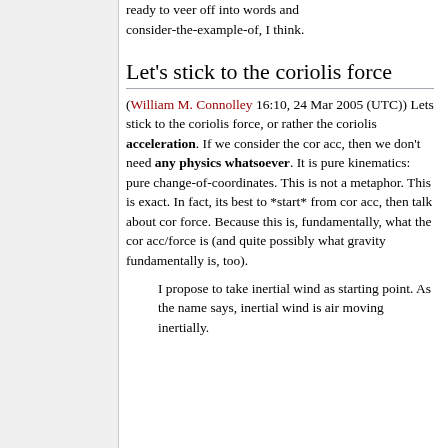ready to veer off into words and consider-the-example-of, I think.
Let's stick to the coriolis force
(William M. Connolley 16:10, 24 Mar 2005 (UTC)) Lets stick to the coriolis force, or rather the coriolis acceleration. If we consider the cor acc, then we don't need any physics whatsoever. It is pure kinematics: pure change-of-coordinates. This is not a metaphor. This is exact. In fact, its best to *start* from cor acc, then talk about cor force. Because this is, fundamentally, what the cor acc/force is (and quite possibly what gravity fundamentally is, too).
I propose to take inertial wind as starting point. As the name says, inertial wind is air moving inertially.